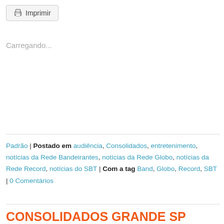[Figure (other): Print button with printer icon and label 'Imprimir']
Carregando...
Padrão | Postado em audiência, Consolidados, entretenimento, notícias da Rede Bandeirantes, notícias da Rede Globo, notícias da Rede Record, notícias do SBT | Com a tag Band, Globo, Record, SBT | 0 Comentários
CONSOLIDADOS GRANDE SP 09.08.2014
[Figure (illustration): Three TV network logos: Globo, Record, SBT]